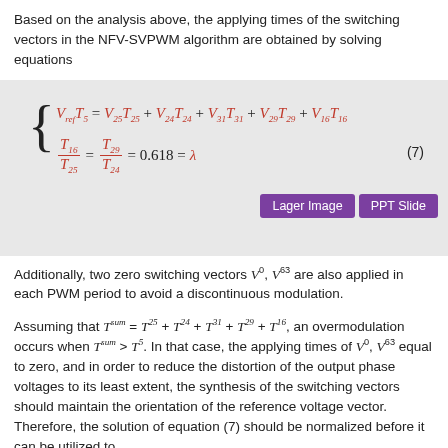Based on the analysis above, the applying times of the switching vectors in the NFV-SVPWM algorithm are obtained by solving equations
Additionally, two zero switching vectors V0, V63 are also applied in each PWM period to avoid a discontinuous modulation.
Assuming that Tsum = T25 + T24 + T31 + T29 + T16, an overmodulation occurs when Tsum > T5. In that case, the applying times of V0, V63 equal to zero, and in order to reduce the distortion of the output phase voltages to its least extent, the synthesis of the switching vectors should maintain the orientation of the reference voltage vector. Therefore, the solution of equation (7) should be normalized before it can be utilized to